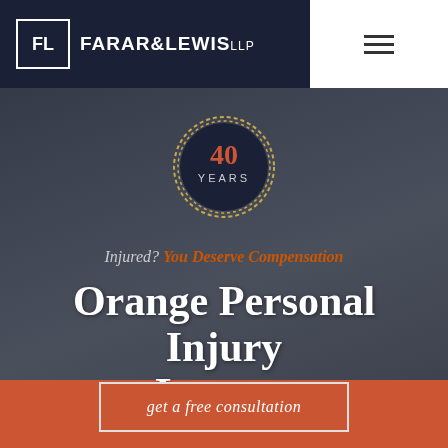[Figure (logo): Farar & Lewis LLP law firm logo with FL monogram in a box, white text on dark navy background, with hamburger menu icon on right white panel]
[Figure (infographic): Dark navy circular badge with dashed/rope border reading '40 YEARS' in orange and white text]
Injured? You Deserve Compensation
Orange Personal Injury Lawyer
get a free consultation
[Figure (illustration): White phone handset icon on orange background at bottom of page]